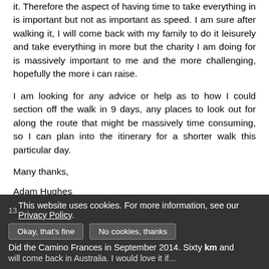it. Therefore the aspect of having time to take everything in is important but not as important as speed. I am sure after walking it, I will come back with my family to do it leisurely and take everything in more but the charity I am doing for is massively important to me and the more challenging, hopefully the more i can raise.
I am looking for any advice or help as to how I could section off the walk in 9 days, any places to look out for along the route that might be massively time consuming, so I can plan into the itinerary for a shorter walk this particular day.
Many thanks,
Adam Hughes
P.S hope to see some of you along the way.
Chris law
This website uses cookies. For more information, see our Privacy Policy.
Did the Camino Frances in September 2014. Sixty km and will come back in Australia. I would love it if...